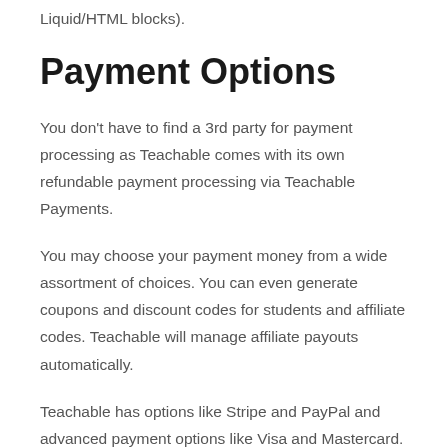Liquid/HTML blocks).
Payment Options
You don't have to find a 3rd party for payment processing as Teachable comes with its own refundable payment processing via Teachable Payments.
You may choose your payment money from a wide assortment of choices. You can even generate coupons and discount codes for students and affiliate codes. Teachable will manage affiliate payouts automatically.
Teachable has options like Stripe and PayPal and advanced payment options like Visa and Mastercard.
Your students can pay by credit card, debit card, PayPal, Apple Pay, and Google Pay. You also have the option of charging your classes as one-time purchases, monthly payments, or as a